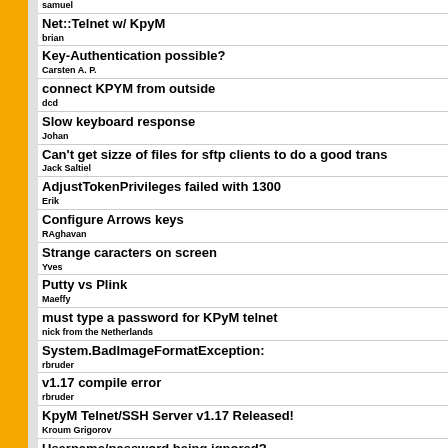samuel
Net::Telnet w/ KpyM
brian
Key-Authentication possible?
Carsten A. P.
connect KPYM from outside
dcd
Slow keyboard response
Johan
Can't get sizze of files for sftp clients to do a good trans
Jack Saltiel
AdjustTokenPrivileges failed with 1300
Erik
Configure Arrows keys
RAghavan
Strange caracters on screen
Yves
Putty vs Plink
Maeffy
must type a password for KPyM telnet
nick from the Netherlands
System.BadImageFormatException:
rbruder
v1.17 compile error
rbruder
KpyM Telnet/SSH Server v1.17 Released!
Kroum Grigorov
Username/password being ignored?
Andy
OpenSSH on Windows and locale
Garfield
Keyboard Macros
da301